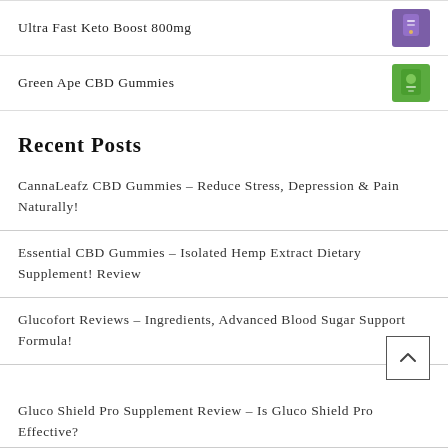Ultra Fast Keto Boost 800mg
Green Ape CBD Gummies
Recent Posts
CannaLeafz CBD Gummies – Reduce Stress, Depression & Pain Naturally!
Essential CBD Gummies – Isolated Hemp Extract Dietary Supplement! Review
Glucofort Reviews – Ingredients, Advanced Blood Sugar Support Formula!
Gluco Shield Pro Supplement Review – Is Gluco Shield Pro Effective?